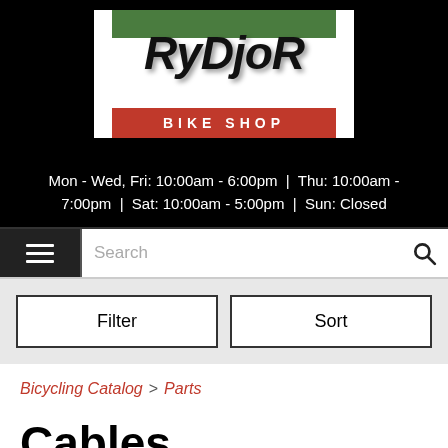[Figure (logo): Rydjor Bike Shop logo with green bar on top, stylized black italic RYDJOR text, and red BIKE SHOP banner below]
Mon - Wed, Fri: 10:00am - 6:00pm | Thu: 10:00am - 7:00pm | Sat: 10:00am - 5:00pm | Sun: Closed
Search
Filter
Sort
Bicycling Catalog > Parts
Cables